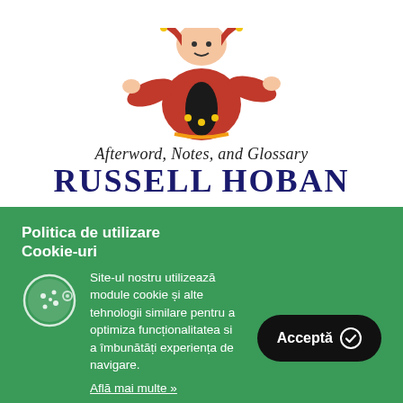[Figure (illustration): Book cover illustration showing a jester/fool figure in red costume with arms outstretched, cropped at torso level, on white background]
Afterword, Notes, and Glossary
RUSSELL HOBAN
Politica de utilizare Cookie-uri
Site-ul nostru utilizează module cookie și alte tehnologii similare pentru a optimiza funcționalitatea si a îmbunătăți experiența de navigare. Află mai multe »